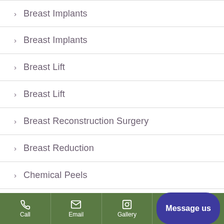Breast Implants
Breast Implants
Breast Lift
Breast Lift
Breast Reconstruction Surgery
Breast Reduction
Chemical Peels
CO2RE Intima
Dermaplaning
Call  Email  Gallery  Message us